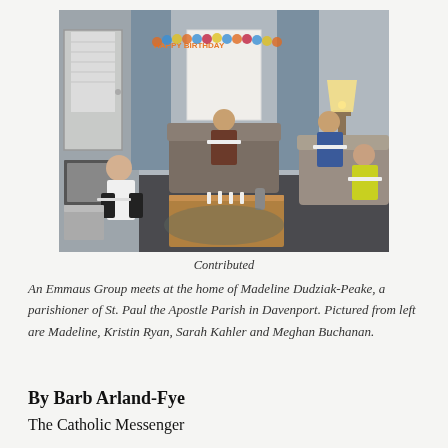[Figure (photo): Four people sitting in a living room decorated with a Happy Birthday banner, reading from papers/books, with a wooden coffee table in the center with candles on it.]
Contributed

An Emmaus Group meets at the home of Madeline Dudziak-Peake, a parishioner of St. Paul the Apostle Parish in Davenport. Pictured from left are Madeline, Kristin Ryan, Sarah Kahler and Meghan Buchanan.
By Barb Arland-Fye
The Catholic Messenger